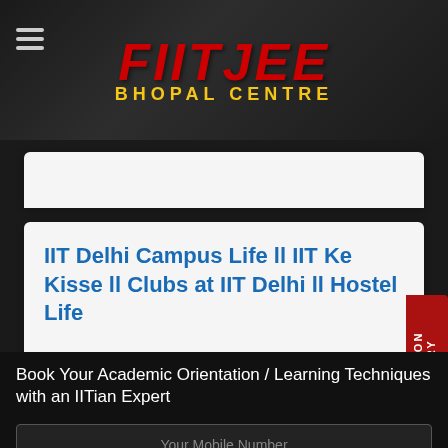[Figure (logo): FIITJEE Bhopal Centre logo with red italic FIITJEE text and yellow BHOPAL CENTRE subtitle on dark background]
Posted On : 16-Feb-2022 05:23 PM
IIT Delhi Campus Life ll IIT Ke Kisse ll Clubs at IIT Delhi ll Hostel Life
ADMISSION ENQUIRY
Book Your Academic Orientation / Learning Techniques with an IITian Expert
Your Mobile Number
SUBMIT